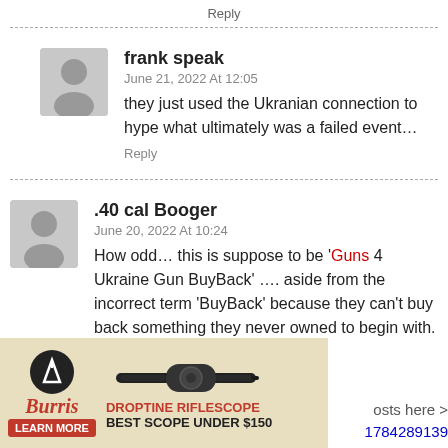Reply
frank speak
June 21, 2022 At 12:05
they just used the Ukranian connection to hype what ultimately was a failed event…
Reply
.40 cal Booger
June 20, 2022 At 10:24
How odd… this is suppose to be 'Guns 4 Ukraine Gun BuyBack' …. aside from the incorrect term 'BuyBack' because they can't buy back something they never owned to begin with.
[Figure (illustration): Burris Droptine Riflescope advertisement banner with logo, rifle scope image, and text 'DROPTINE RIFLESCOPE BEST SCOPE UNDER $150 LEARN MORE']